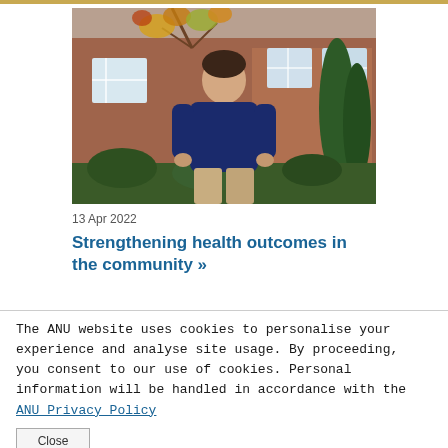[Figure (photo): A young man in a navy blue sweater standing outdoors in front of a red brick building with autumn-colored trees and tall green cypress trees.]
13 Apr 2022
Strengthening health outcomes in the community »
The ANU website uses cookies to personalise your experience and analyse site usage. By proceeding, you consent to our use of cookies. Personal information will be handled in accordance with the ANU Privacy Policy